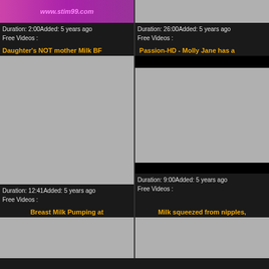[Figure (screenshot): Top left video thumbnail with pink/purple website banner]
Duration: 2:00Added: 5 years ago
Free Videos :
[Figure (screenshot): Top right video thumbnail gray]
Duration: 26:00Added: 5 years ago
Free Videos :
Daughter's NOT mother Milk BF
Passion-HD - Molly Jane has a
[Figure (photo): Gray placeholder thumbnail for Daughter's NOT mother Milk BF video]
[Figure (photo): Passion-HD video thumbnail showing adult content]
Duration: 12:41Added: 5 years ago
Free Videos :
Duration: 9:00Added: 5 years ago
Free Videos :
Breast Milk Pumping at
Milk squeezed from nipples,
[Figure (photo): Gray placeholder thumbnail for Breast Milk Pumping video]
[Figure (photo): Gray placeholder thumbnail for Milk squeezed from nipples video]